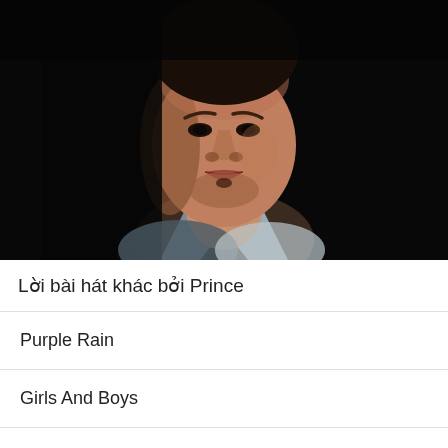[Figure (photo): Close-up portrait photo of a man with dark stubble, wearing a grey/white open-collar shirt, photographed against a dark/black background with dramatic lighting]
Lời bài hát khác bởi Prince
Purple Rain
Girls And Boys
Lolita
D...